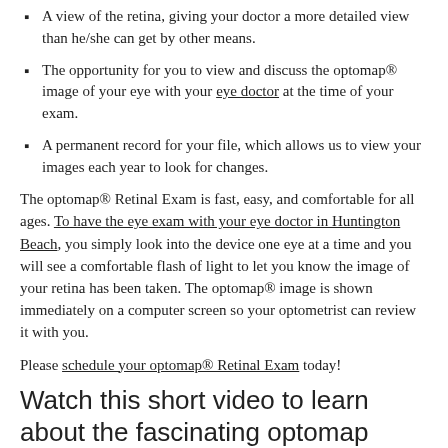A view of the retina, giving your doctor a more detailed view than he/she can get by other means.
The opportunity for you to view and discuss the optomap® image of your eye with your eye doctor at the time of your exam.
A permanent record for your file, which allows us to view your images each year to look for changes.
The optomap® Retinal Exam is fast, easy, and comfortable for all ages. To have the eye exam with your eye doctor in Huntington Beach, you simply look into the device one eye at a time and you will see a comfortable flash of light to let you know the image of your retina has been taken. The optomap® image is shown immediately on a computer screen so your optometrist can review it with you.
Please schedule your optomap® Retinal Exam today!
Watch this short video to learn about the fascinating optomap technology:
[Figure (screenshot): Video thumbnail showing 'The Optomap® Retinal Exam on T...' with DRS logo circle on dark background]